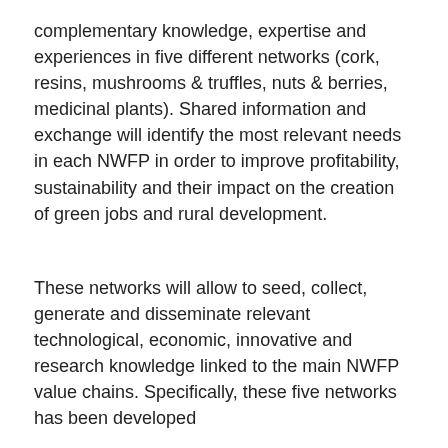complementary knowledge, expertise and experiences in five different networks (cork, resins, mushrooms & truffles, nuts & berries, medicinal plants). Shared information and exchange will identify the most relevant needs in each NWFP in order to improve profitability, sustainability and their impact on the creation of green jobs and rural development.
These networks will allow to seed, collect, generate and disseminate relevant technological, economic, innovative and research knowledge linked to the main NWFP value chains. Specifically, these five networks has been developed
Cork. Coordinated by: UNAC
Resins. Coordinated by: Cesefor